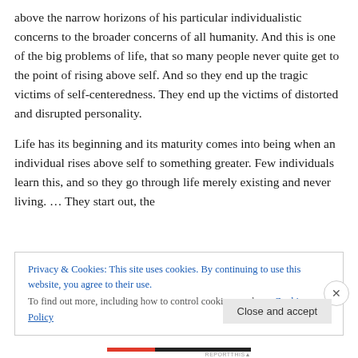above the narrow horizons of his particular individualistic concerns to the broader concerns of all humanity. And this is one of the big problems of life, that so many people never quite get to the point of rising above self. And so they end up the tragic victims of self-centeredness. They end up the victims of distorted and disrupted personality.
Life has its beginning and its maturity comes into being when an individual rises above self to something greater. Few individuals learn this, and so they go through life merely existing and never living. … They start out, the
Privacy & Cookies: This site uses cookies. By continuing to use this website, you agree to their use.
To find out more, including how to control cookies, see here: Cookie Policy